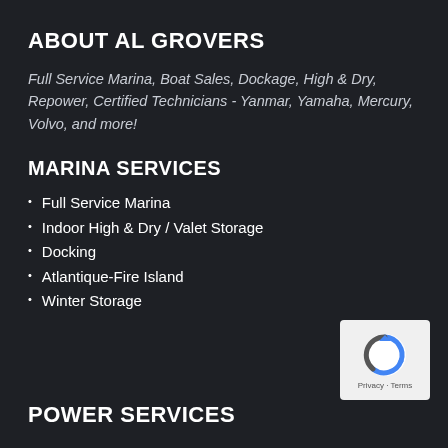ABOUT AL GROVERS
Full Service Marina, Boat Sales, Dockage, High & Dry, Repower, Certified Technicians - Yanmar, Yamaha, Mercury, Volvo, and more!
MARINA SERVICES
Full Service Marina
Indoor High & Dry / Valet Storage
Docking
Atlantique-Fire Island
Winter Storage
[Figure (logo): Google reCAPTCHA logo with Privacy and Terms text]
POWER SERVICES